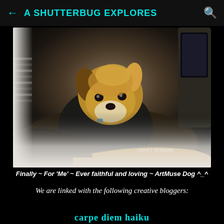A SHUTTERBUG EXPLORES
[Figure (photo): A Yorkshire Terrier dog resting on dark fabric, looking directly at camera. Photo watermarked 'carol l mckenna'.]
Finally ~ For 'Me' ~ Ever faithful and loving ~ ArtMuse Dog ^_^
We are linked with the following creative bloggers:
carpe diem haiku